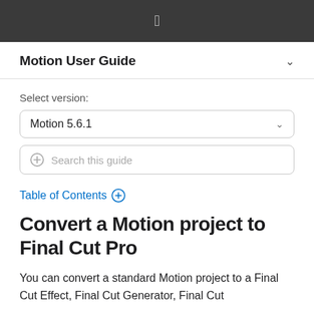Apple logo (top navigation bar)
Motion User Guide
Select version:
Motion 5.6.1
Search this guide
Table of Contents +
Convert a Motion project to Final Cut Pro
You can convert a standard Motion project to a Final Cut Effect, Final Cut Generator, Final Cut